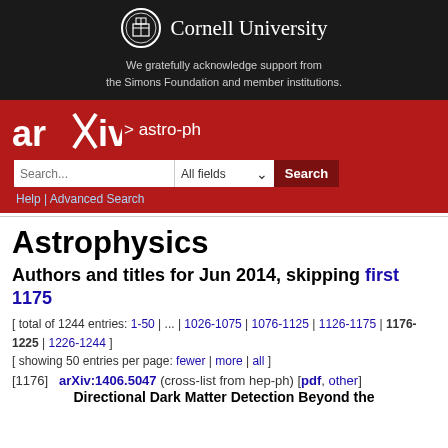[Figure (logo): Cornell University seal/shield logo in white on dark background with text 'Cornell University']
We gratefully acknowledge support from the Simons Foundation and member institutions.
[Figure (logo): arXiv logo in white on red background with category '> astro-ph' and search bar]
Astrophysics
Authors and titles for Jun 2014, skipping first 1175
[ total of 1244 entries: 1-50 | ... | 1026-1075 | 1076-1125 | 1126-1175 | 1176-1225 | 1226-1244 ]
[ showing 50 entries per page: fewer | more | all ]
[1176]  arXiv:1406.5047 (cross-list from hep-ph) [pdf, other]
Directional Dark Matter Detection Beyond the